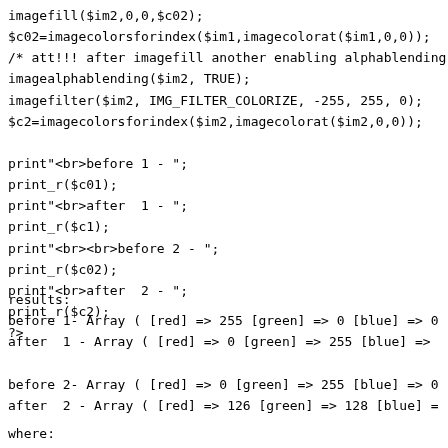imagefill($im2,0,0,$c02);
$c02=imagecolorsforindex($im1,imagecolorat($im1,0,0));
/* att!!! after imagefill another enabling alphablending
imagealphablending($im2, TRUE);
imagefilter($im2, IMG_FILTER_COLORIZE, -255, 255, 0);
$c2=imagecolorsforindex($im2,imagecolorat($im2,0,0));

print"<br>before 1 - ";
print_r($c01);
print"<br>after  1 - ";
print_r($c1);
print"<br><br>before 2 - ";
print_r($c02);
print"<br>after  2 - ";
print_r($c2);
?>
results:
before 1- Array ( [red] => 255 [green] => 0 [blue] => 0
after  1 - Array ( [red] => 0 [green] => 255 [blue] =>

before 2- Array ( [red] => 0 [green] => 255 [blue] => 0
after  2 - Array ( [red] => 126 [green] => 128 [blue] =
where: